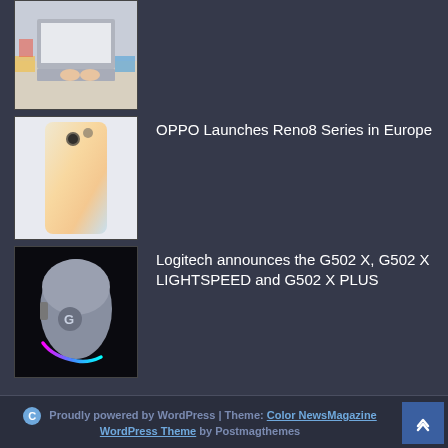[Figure (photo): Thumbnail of a person's hands on a laptop keyboard with colorful items nearby]
[Figure (photo): Thumbnail of OPPO Reno8 smartphone with pastel gradient back]
OPPO Launches Reno8 Series in Europe
[Figure (photo): Thumbnail of Logitech G502 X gaming mouse with RGB lighting on dark background]
Logitech announces the G502 X, G502 X LIGHTSPEED and G502 X PLUS
© Proudly powered by WordPress | Theme: Color NewsMagazine WordPress Theme by Postmagthemes